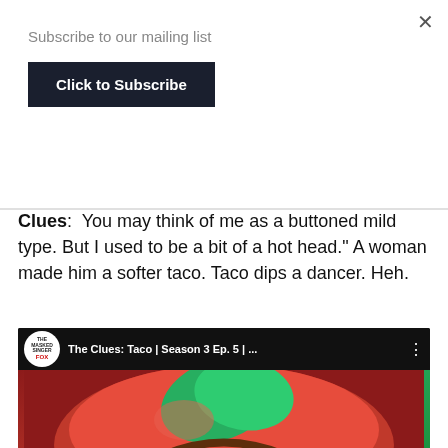×
Subscribe to our mailing list
Click to Subscribe
Clues:  You may think of me as a buttoned mild type. But I used to be a bit of a hot head." A woman made him a softer taco. Taco dips a dancer. Heh.
[Figure (screenshot): YouTube video thumbnail showing The Clues: Taco | Season 3 Ep. 5 | ... with a masked singer taco costume image and The Masked Singer Fox channel icon]
[Figure (infographic): Modlily clothing advertisement showing 6 fashion product images and the Modlily logo]